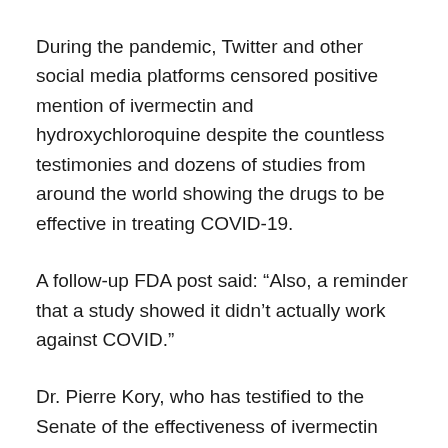During the pandemic, Twitter and other social media platforms censored positive mention of ivermectin and hydroxychloroquine despite the countless testimonies and dozens of studies from around the world showing the drugs to be effective in treating COVID-19.
A follow-up FDA post said: “Also, a reminder that a study showed it didn’t actually work against COVID.”
Dr. Pierre Kory, who has testified to the Senate of the effectiveness of ivermectin against COVID-19, fired back.